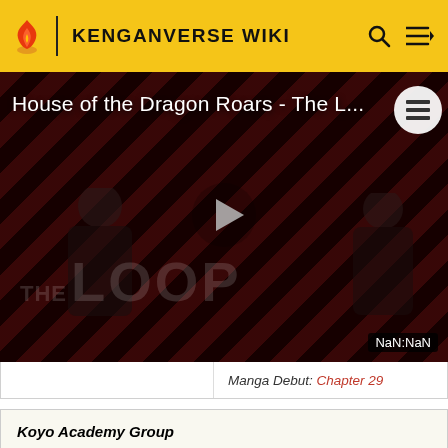KENGANVERSE WIKI
[Figure (screenshot): Video thumbnail for 'House of the Dragon Roars - The L...' showing two silhouetted figures, diagonal red/dark stripe background, play button, THE LOOP text watermark, and NaN:NaN duration indicator.]
| Manga Debut: | Chapter 29 |
| Koyo Academy Group |
| --- |
| 光鵬学園グループ | (Kōō Gakuen Gurūpu) |